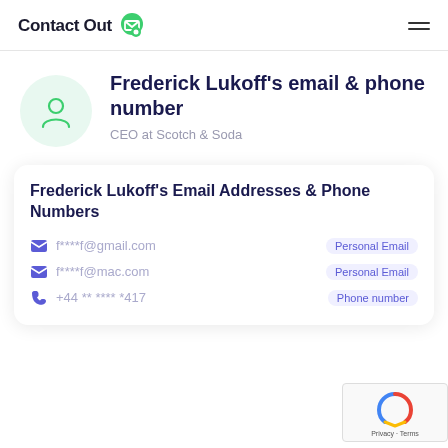ContactOut
Frederick Lukoff's email & phone number
CEO at Scotch & Soda
Frederick Lukoff's Email Addresses & Phone Numbers
f****f@gmail.com  Personal Email
f****f@mac.com  Personal Email
+44 ** **** *417  Phone number